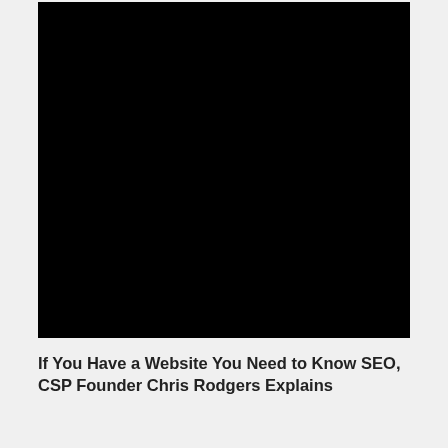[Figure (photo): A large black rectangular area representing a video thumbnail or screenshot with no visible content — entirely black.]
If You Have a Website You Need to Know SEO, CSP Founder Chris Rodgers Explains